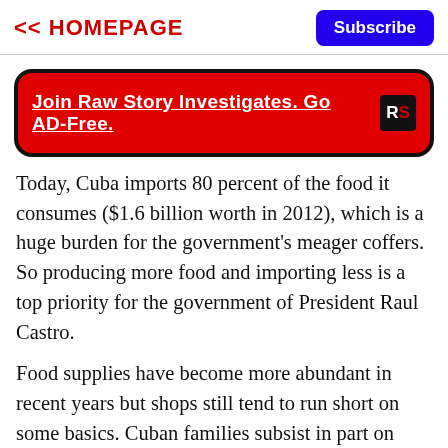<< HOMEPAGE | Subscribe
[Figure (other): Red banner ad with text 'Join Raw Story Investigates. Go AD-Free.' and RS logo]
Today, Cuba imports 80 percent of the food it consumes ($1.6 billion worth in 2012), which is a huge burden for the government's meager coffers. So producing more food and importing less is a top priority for the government of President Raul Castro.
Food supplies have become more abundant in recent years but shops still tend to run short on some basics. Cuban families subsist in part on ration books that give them food at subsidized prices. But they do not live high